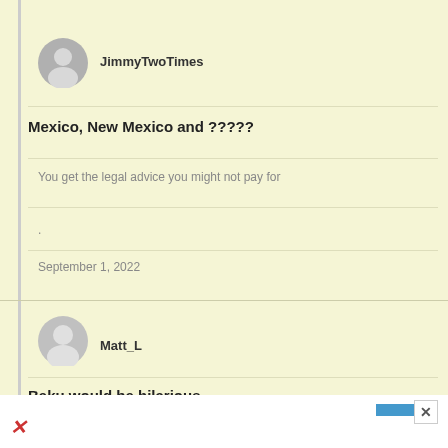[Figure (screenshot): User avatar silhouette circle for JimmyTwoTimes - gray circle with person icon]
JimmyTwoTimes
Mexico, New Mexico and ?????
You get the legal advice you might not pay for
.
September 1, 2022
[Figure (screenshot): User avatar silhouette circle for Matt_L - gray circle with person icon]
Matt_L
Baku would be hilarious.
You get the legal advice you might not pay for